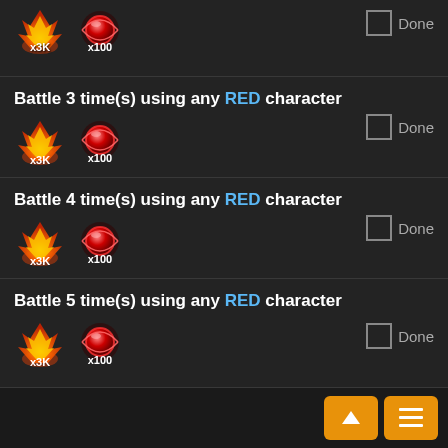[Figure (screenshot): Partial quest block showing x3K and x100 reward icons at top of page with Done checkbox]
Battle 3 time(s) using any RED character
[Figure (screenshot): Reward icons x3K fire and x100 orb with Done checkbox for Battle 3 quest]
Battle 4 time(s) using any RED character
[Figure (screenshot): Reward icons x3K fire and x100 orb with Done checkbox for Battle 4 quest]
Battle 5 time(s) using any RED character
[Figure (screenshot): Reward icons x3K fire and x100 orb with Done checkbox for Battle 5 quest]